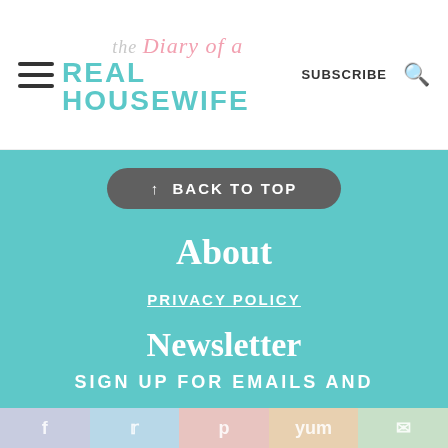the Diary of a REAL HOUSEWIFE — SUBSCRIBE
↑ BACK TO TOP
About
PRIVACY POLICY
Newsletter
SIGN UP FOR EMAILS AND
f  t  p  yum  email